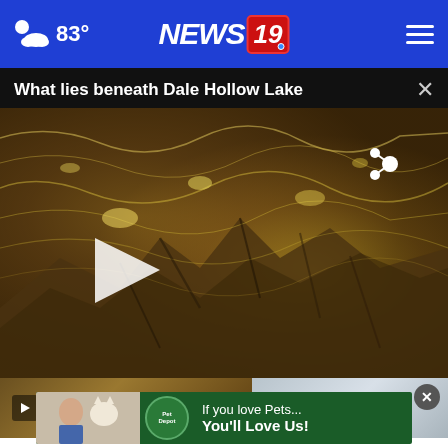83° NEWS 19
What lies beneath Dale Hollow Lake
[Figure (photo): Underwater view of Dale Hollow Lake showing submerged rocky terrain with golden light filtering through water creating rippling patterns on the bottom. A play button is visible on the left side and a share icon in the upper right.]
[Figure (photo): Two small video thumbnail previews at the bottom: left shows an underwater/nature scene, right shows an outdoor/vehicle scene with a close button]
[Figure (other): Advertisement banner for Pet Depot showing a child with a cat, Pet Depot logo, and text: If you love Pets... You'll Love Us!]